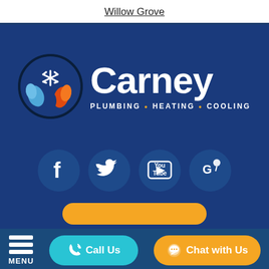Willow Grove
[Figure (logo): Carney Plumbing Heating Cooling company logo with circular icon showing snowflake, water drops, and flame, and large white Carney text with PLUMBING • HEATING • COOLING tagline on dark blue background]
[Figure (infographic): Four social media icon buttons in dark blue circles: Facebook (f), Twitter (bird), YouTube (You Tube), and Google Maps (G with pin)]
[Figure (infographic): Yellow/gold rounded rectangle button bar partially visible]
[Figure (infographic): Bottom navigation bar with hamburger MENU icon, cyan Call Us button, and gold Chat with Us button]